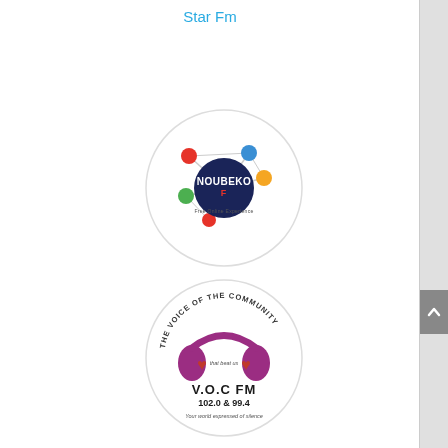Star Fm
[Figure (logo): Noubeko FM logo — circular logo with network/molecule graphic connecting colored dots (red, blue, orange, green) around a dark navy circle with 'NOUBEKO F' text and a tagline below]
[Figure (logo): V.O.C FM logo — circular logo with 'THE VOICE OF THE COMMUNITY' around the top, pink/purple headphones with floral hearts design, text 'V.O.C FM 102.0 & 99.4' and tagline 'Your world expressed in silence']